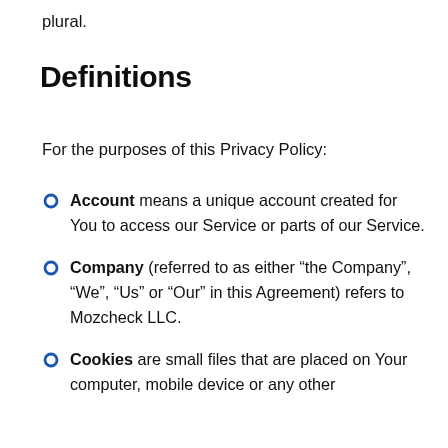plural.
Definitions
For the purposes of this Privacy Policy:
Account means a unique account created for You to access our Service or parts of our Service.
Company (referred to as either “the Company”, “We”, “Us” or “Our” in this Agreement) refers to Mozcheck LLC.
Cookies are small files that are placed on Your computer, mobile device or any other